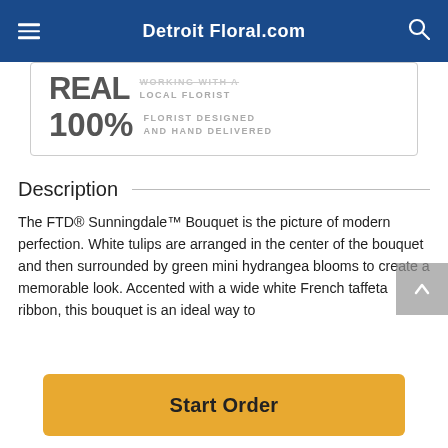Detroit Floral.com
[Figure (infographic): Badge box showing 'REAL LOCAL FLORIST' and '100% FLORIST DESIGNED AND HAND DELIVERED']
Description
The FTD® Sunningdale™ Bouquet is the picture of modern perfection. White tulips are arranged in the center of the bouquet and then surrounded by green mini hydrangea blooms to create a memorable look. Accented with a wide white French taffeta ribbon, this bouquet is an ideal way to
Start Order